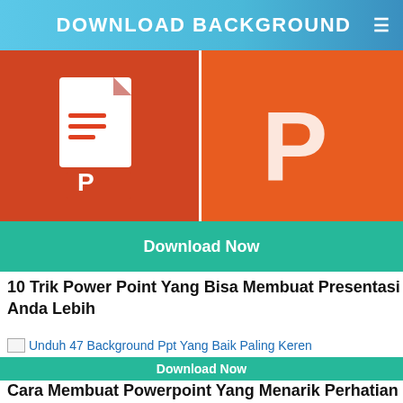DOWNLOAD BACKGROUND
[Figure (screenshot): Two PowerPoint application icons side by side on orange/red backgrounds]
Download Now
10 Trik Power Point Yang Bisa Membuat Presentasi Anda Lebih
[Figure (screenshot): Broken image placeholder with link text: Unduh 47 Background Ppt Yang Baik Paling Keren]
Download Now
Cara Membuat Powerpoint Yang Menarik Perhatian Audiens